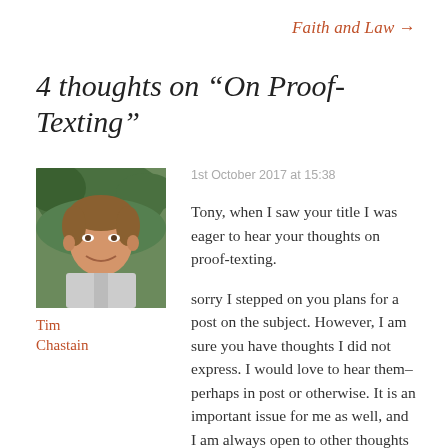Faith and Law →
4 thoughts on “On Proof-Texting”
[Figure (photo): Portrait photo of Tim Chastain, a middle-aged man smiling outdoors]
Tim Chastain
1st October 2017 at 15:38
Tony, when I saw your title I was eager to hear your thoughts on proof-texting.

sorry I stepped on you plans for a post on the subject. However, I am sure you have thoughts I did not express. I would love to hear them–perhaps in post or otherwise. It is an important issue for me as well, and I am always open to other thoughts on it.